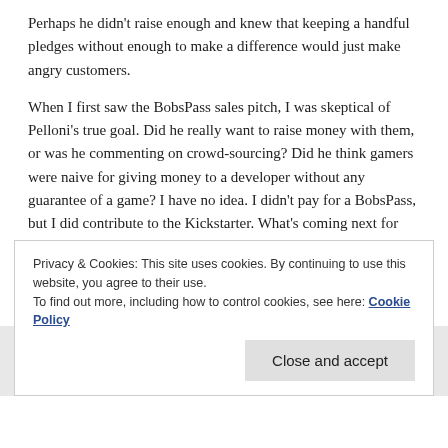Perhaps he didn't raise enough and knew that keeping a handful pledges without enough to make a difference would just make angry customers.
When I first saw the BobsPass sales pitch, I was skeptical of Pelloni's true goal. Did he really want to raise money with them, or was he commenting on crowd-sourcing? Did he think gamers were naive for giving money to a developer without any guarantee of a game? I have no idea. I didn't pay for a BobsPass, but I did contribute to the Kickstarter. What's coming next for bob's game is a mystery, but I'd still love to play a full RPG that felt like that original .nds demo!
Privacy & Cookies: This site uses cookies. By continuing to use this website, you agree to their use.
To find out more, including how to control cookies, see here: Cookie Policy